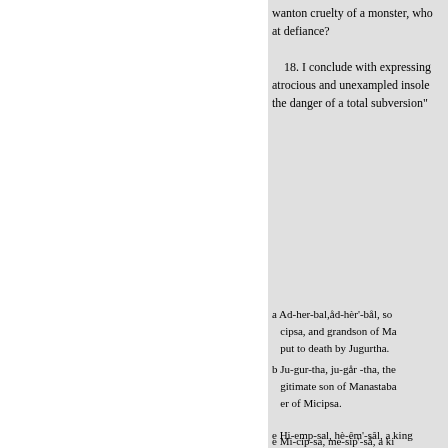wanton cruelty of a monster, who at defiance?
18. I conclude with expressing atrocious and unexampled insolence the danger of a total subversion"
a Ad-her-bal,åd-hèr'-bål, son cipsa, and grandson of Ma put to death by Jugurtha.
b Ju-gur-tha, ju-går -tha, the gitimate son of Manastaba er of Micipsa.
e Mi-cip-sa, me-sip'-så, a ki Numidia, son of Masinissa
d Con-junct-ly, kôn-jůnkt'-l ly.
e Hi-emp-sal, hè-êm'-sâl, a king